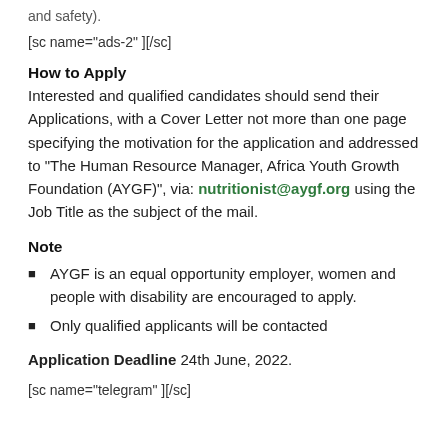and safety).
[sc name="ads-2" ][/sc]
How to Apply
Interested and qualified candidates should send their Applications, with a Cover Letter not more than one page specifying the motivation for the application and addressed to “The Human Resource Manager, Africa Youth Growth Foundation (AYGF)”, via: nutritionist@aygf.org using the Job Title as the subject of the mail.
Note
AYGF is an equal opportunity employer, women and people with disability are encouraged to apply.
Only qualified applicants will be contacted
Application Deadline 24th June, 2022.
[sc name="telegram" ][/sc]